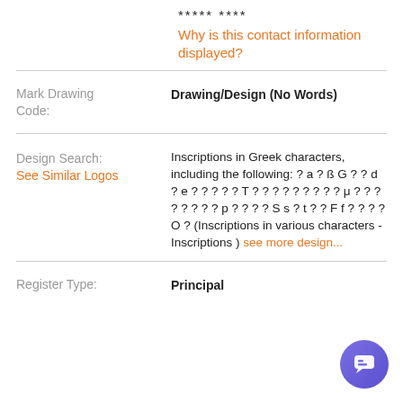***** ****
Why is this contact information displayed?
Mark Drawing Code:
Drawing/Design (No Words)
Design Search:
See Similar Logos
Inscriptions in Greek characters, including the following: ? a ? ß G ? ? d ? e ? ? ? ? ? T ? ? ? ? ? ? ? ? ? μ ? ? ? ? ? ? ? ? p ? ? ? ? S s ? t ? ? F f ? ? ? ? O ? (Inscriptions in various characters - Inscriptions ) see more design...
Register Type:
Principal